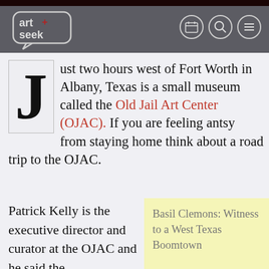art+seek [logo]
Just two hours west of Fort Worth in Albany, Texas is a small museum called the Old Jail Art Center (OJAC). If you are feeling antsy from staying home think about a road trip to the OJAC.
Patrick Kelly is the executive director and curator at the OJAC and he said the
Basil Clemons: Witness to a West Texas Boomtown